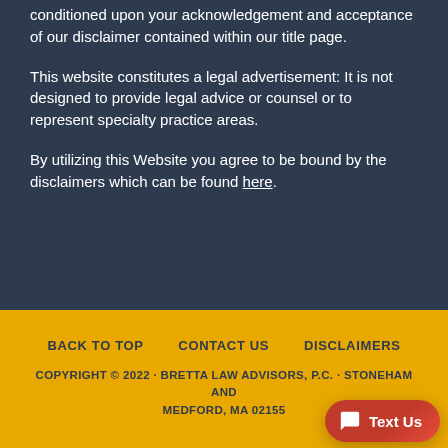conditioned upon your acknowledgement and acceptance of our disclaimer contained within our title page.
This website constitutes a legal advertisement: It is not designed to provide legal advice or counsel or to represent specialty practice areas.
By utilizing this Website you agree to be bound by the disclaimers which can be found here.
BACK TO TOP   CONTACT US   DISCLAIMERS
COPYRIGHT © 2022 · BRETTA LAW ADVISORS, P.C. · STONEHAM AND MEDFORD, MA 02155